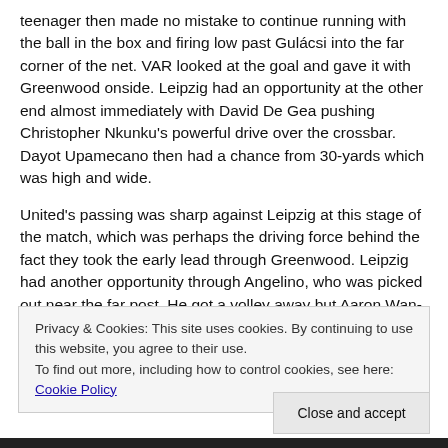teenager then made no mistake to continue running with the ball in the box and firing low past Gulácsi into the far corner of the net. VAR looked at the goal and gave it with Greenwood onside. Leipzig had an opportunity at the other end almost immediately with David De Gea pushing Christopher Nkunku's powerful drive over the crossbar. Dayot Upamecano then had a chance from 30-yards which was high and wide.
United's passing was sharp against Leipzig at this stage of the match, which was perhaps the driving force behind the fact they took the early lead through Greenwood. Leipzig had another opportunity through Angelino, who was picked out near the far post. He got a volley away but Aaron Wan-Bissaka got a crucial block in with the ball looping up into the arms of
Privacy & Cookies: This site uses cookies. By continuing to use this website, you agree to their use.
To find out more, including how to control cookies, see here: Cookie Policy
Close and accept